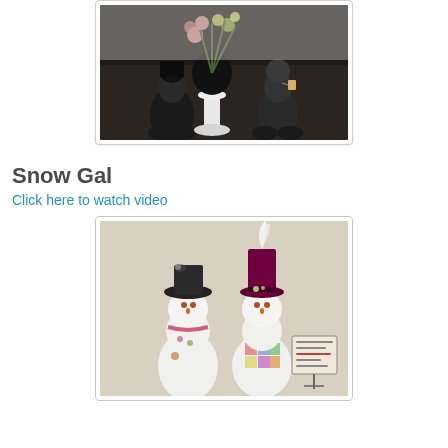[Figure (photo): Photo of decorative gnome/doll figurines with a vase of flowers on a black table surface, displayed in a white-bordered frame.]
Snow Gal
Click here to watch video
[Figure (photo): Photo of two handmade snowman dolls wearing decorative hats (one black, one with a tall burgundy top hat with feather), displayed in a white-bordered frame.]